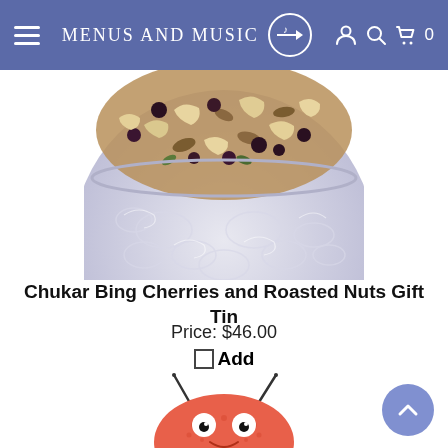Menus and Music
[Figure (photo): Top portion of a decorative tin bowl filled with mixed nuts and dried cherries/bing cherries, with a light gray floral pattern on the tin]
Chukar Bing Cherries and Roasted Nuts Gift Tin
Price: $46.00
Add
[Figure (photo): Top portion of a pink/red fuzzy toy bug or animal with antennae and large cartoon eyes, smiling]